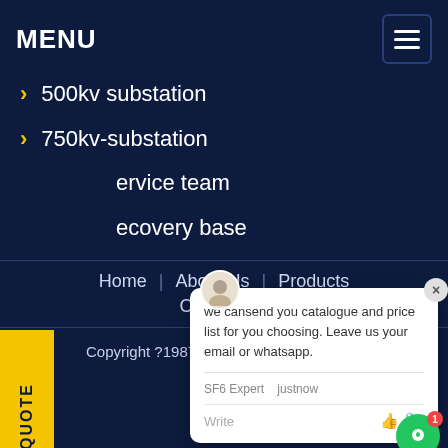MENU
500kv substation
750kv-substation
service team
recovery base
[Figure (screenshot): Chat popup with message: we cansend you catalogue and price list for you choosing. Leave us your email or whatsapp. SF6 Expert just now. Write input area with like and attachment icons.]
REQUEST A QUOTE
Home | About Us | Products | Contact Us
Copyright ?1987-2022 SF6 Relations - All Rights Reserved.
Map